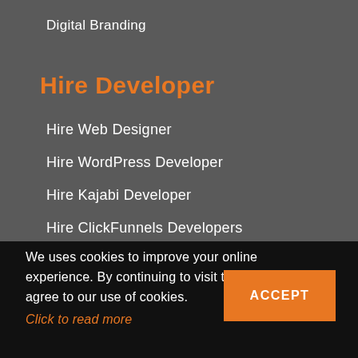Digital Branding
Hire Developer
Hire Web Designer
Hire WordPress Developer
Hire Kajabi Developer
Hire ClickFunnels Developers
We uses cookies to improve your online experience. By continuing to visit this site you agree to our use of cookies. Click to read more
ACCEPT